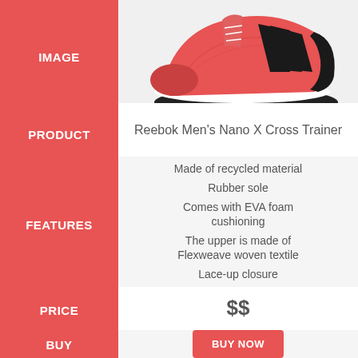IMAGE
[Figure (photo): Red and black Reebok Men's Nano X Cross Trainer shoe viewed from the side]
PRODUCT
Reebok Men's Nano X Cross Trainer
FEATURES
Made of recycled material
Rubber sole
Comes with EVA foam cushioning
The upper is made of Flexweave woven textile
Lace-up closure
PRICE
$$
BUY
BUY NOW